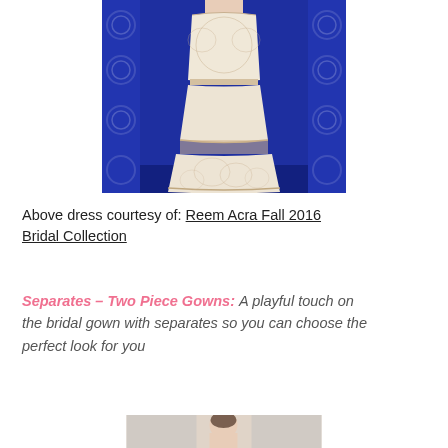[Figure (photo): A model in a white lace bridal gown on a runway with blue decorative backdrop]
Above dress courtesy of: Reem Acra Fall 2016 Bridal Collection
Separates – Two Piece Gowns: A playful touch on the bridal gown with separates so you can choose the perfect look for you
[Figure (photo): A model in another bridal gown, partial view from top]